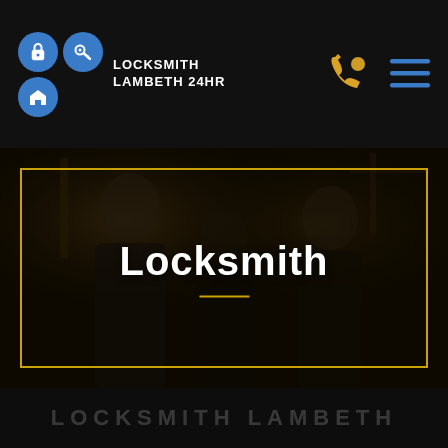[Figure (logo): Locksmith Lambeth 24HR logo with blue circular icons (padlock, key, house) and white text]
[Figure (photo): Dark-toned photo of three people (two men and a woman) smiling in a workshop setting, with a gold border frame overlay and the word Locksmith centered in white bold text with a gold divider line beneath it]
Locksmith